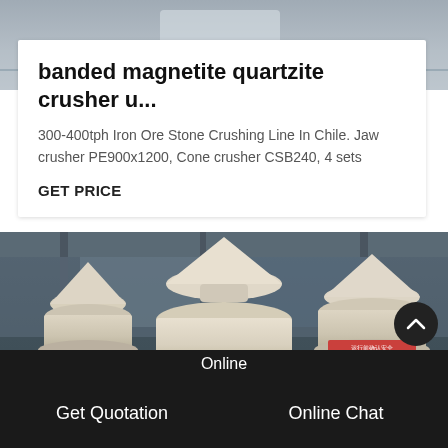[Figure (photo): Top portion of an industrial machinery photo (blurred/cropped background) — gray industrial setting visible at top of page]
banded magnetite quartzite crusher u...
300-400tph Iron Ore Stone Crushing Line In Chile. Jaw crusher PE900x1200, Cone crusher CSB240, 4 sets
GET PRICE
[Figure (photo): Industrial cone crushers (4 units) in a large factory/warehouse setting. Machines are beige/cream colored with Chinese text labels on them. Industrial steel structure visible in background.]
Online
Get Quotation
Online Chat